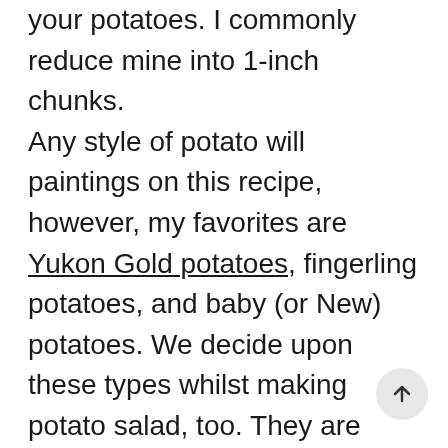your potatoes. I commonly reduce mine into 1-inch chunks.
Any style of potato will paintings on this recipe, however, my favorites are Yukon Gold potatoes, fingerling potatoes, and baby (or New) potatoes. We decide upon these types whilst making potato salad, too. They are creamier and extra buttery inside than when compared to baking potatoes.
As for the seasoning, we keep on with salt, pepper, and a bit bit of smoked paprika. If you've not cooked lots with smoked paprika, I encourage you to begin. It's a dark crimson